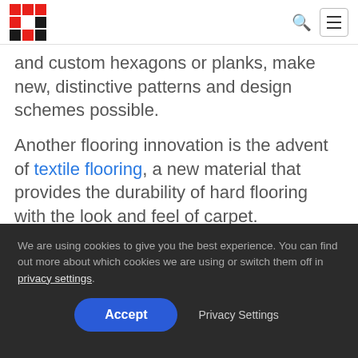[Logo] [Search icon] [Menu button]
and custom hexagons or planks, make new, distinctive patterns and design schemes possible.
Another flooring innovation is the advent of textile flooring, a new material that provides the durability of hard flooring with the look and feel of carpet.
We are using cookies to give you the best experience. You can find out more about which cookies we are using or switch them off in privacy settings.
Accept  Privacy Settings